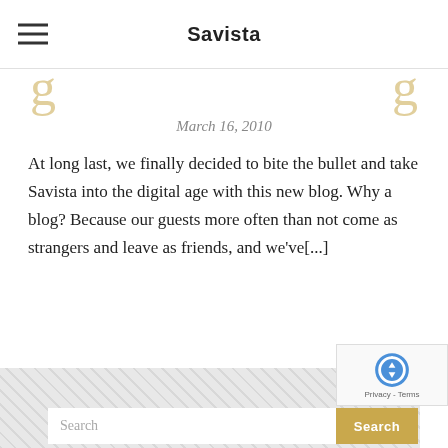Savista
March 16, 2010
At long last, we finally decided to bite the bullet and take Savista into the digital age with this new blog. Why a blog? Because our guests more often than not come as strangers and leave as friends, and we've[...]
« PREVIOUS  1  ...  8  9  10